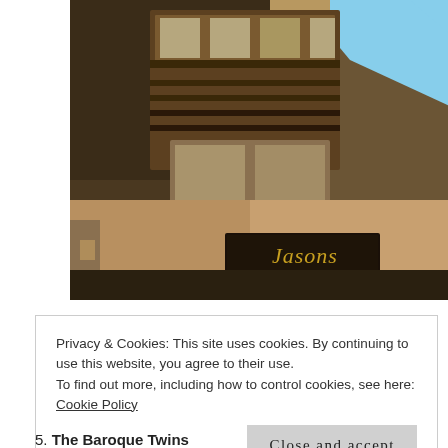[Figure (photo): Photo of a building facade with wooden balconies and a sign reading 'Jasons' in golden script lettering, shot from below at an angle against a blue sky.]
Privacy & Cookies: This site uses cookies. By continuing to use this website, you agree to their use.
To find out more, including how to control cookies, see here: Cookie Policy
Close and accept
5. The Baroque Twins